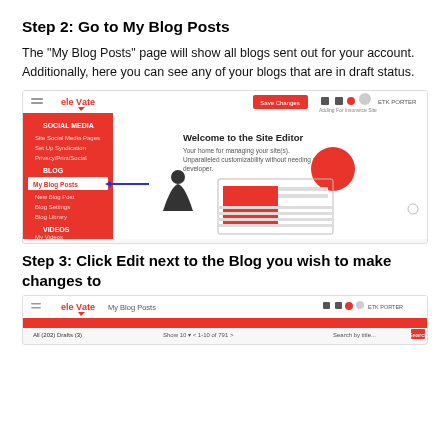Step 2: Go to My Blog Posts
The "My Blog Posts" page will show all blogs sent out for your account. Additionally, here you can see any of your blogs that are in draft status.
[Figure (screenshot): Screenshot of the Elevate site editor interface showing the navigation menu with 'My Blog Posts' highlighted under the BLOG section, with a blue arrow pointing to it. The main area shows 'Welcome to the Site Editor' message with a person icon and red graphic elements.]
Step 3: Click Edit next to the Blog you wish to make changes to
[Figure (screenshot): Screenshot of the Elevate My Blog Posts page showing the top navigation bar with the page title and a partially visible table/list of blog posts.]